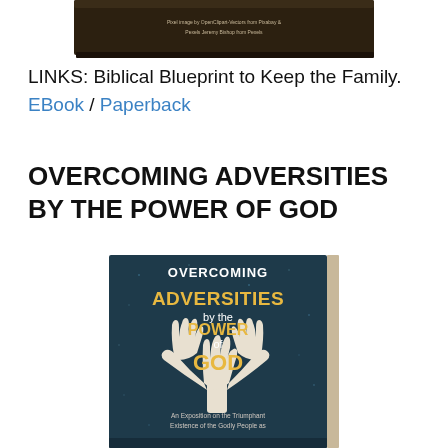[Figure (photo): Top portion of a book cover partially visible at the top of the page, showing a dark image with small text crediting Pixabay and Pexels for images.]
LINKS: Biblical Blueprint to Keep the Family. EBook / Paperback
OVERCOMING ADVERSITIES BY THE POWER OF GOD
[Figure (photo): Book cover of 'Overcoming Adversities by the Power of God' — dark blue/teal background with white stylized hands forming a tree shape, yellow bold title text, white subtitle text reading 'An Exposition on the Triumphant Existence of the Godly People as...' (cut off at bottom)]